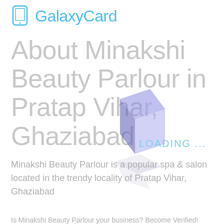[Figure (logo): GalaxyCard logo with phone icon and cyan text]
About Minakshi Beauty Parlour in Pratap Vihar, Ghaziabad
LOADING ...
Minakshi Beauty Parlour is a popular spa & salon located in the trendy locality of Pratap Vihar, Ghaziabad
Is Minakshi Beauty Parlour your business? Become Verified!
[Figure (illustration): 3D blue/purple cube loading animation overlay]
Address
Mirzapur Pratap
Click here for directions to